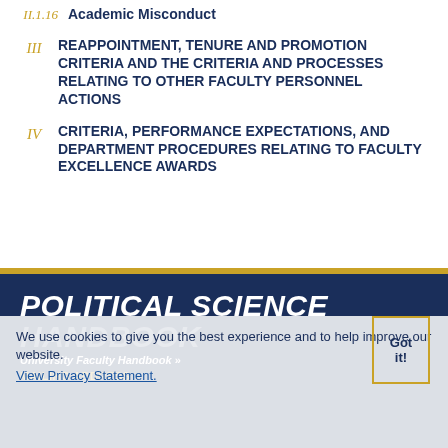II.1.16  Academic Misconduct
III  REAPPOINTMENT, TENURE AND PROMOTION CRITERIA AND THE CRITERIA AND PROCESSES RELATING TO OTHER FACULTY PERSONNEL ACTIONS
IV  CRITERIA, PERFORMANCE EXPECTATIONS, AND DEPARTMENT PROCEDURES RELATING TO FACULTY EXCELLENCE AWARDS
POLITICAL SCIENCE HANDBOOK
University Faculty Handbook »
MAILING ADDRESS
We use cookies to give you the best experience and to help improve our website. View Privacy Statement.
Got it!